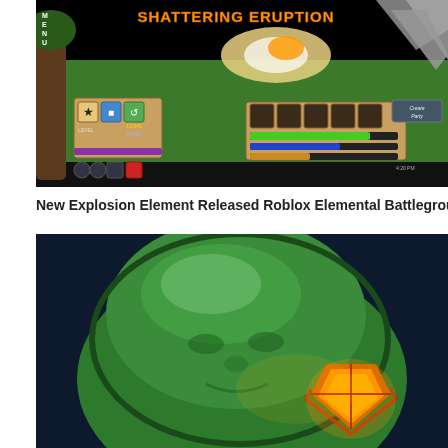[Figure (screenshot): Screenshot of Roblox Elemental Battlegrounds game showing 'Shattering Eruption' spell name in orange/gold text at top, green 3D environment with trees, game UI elements including health/mana bars, skill icons, and a 'Create Party' button in bottom right.]
New Explosion Element Released Roblox Elemental Battlegrounds
[Figure (screenshot): Close-up illustration of a green Roblox character/element face with dark navy background. The character has a green rounded bloblike head with subtle face features, and a orange/red/yellow shield or badge emblem visible in the lower right area.]